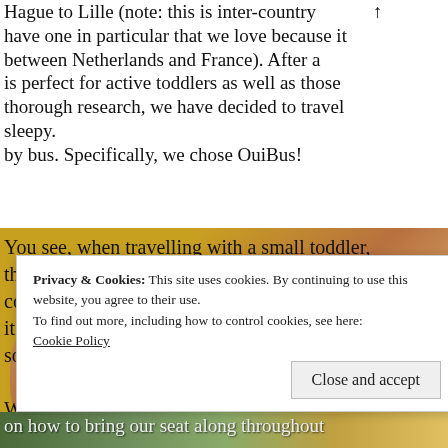Hague to Lille (note: this is inter-country have one in particular that we love because it between Netherlands and France). After a is perfect for active toddlers as well as those thorough research, we have decided to travel sleepy. by bus. Specifically, we chose OuiBus!
[Figure (photo): Photo of a couple (woman with floral headscarf and man in red shirt) with overlaid text about travelling with a toddler on a bus. Text reads: 'You see, when travelling with a small toddler, the trip needs to be in a budget and convenient. Any bus trip sounds perfect! And it would be easy peasy to research & book. Or so we thought. We almost booked Flixbus, but then we found']
Privacy & Cookies: This site uses cookies. By continuing to use this website, you agree to their use.
To find out more, including how to control cookies, see here:
Cookie Policy
Close and accept
[Figure (photo): Bottom strip of another photo showing text: 'on how to bring our seat along throughout']